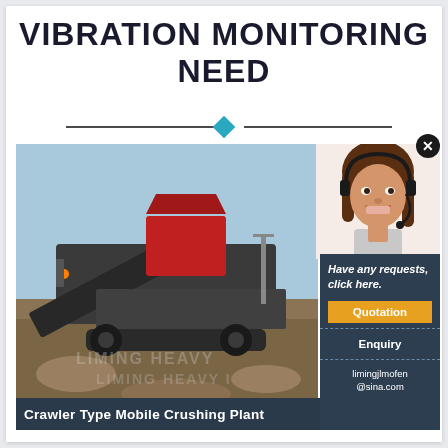VIBRATION MONITORING NEED
[Figure (photo): Crawler Type Mobile Crushing Plant — large industrial mobile crushing machine on a construction/mining site with a conveyor belt, photographed outdoors with blue sky background]
Crawler Type Mobile Crushing Plant
[Figure (photo): Customer service representative — woman with headset smiling, used as a support/chat popup overlay]
Have any requests, click here.
Quotation
Enquiry
limingjlmofen@sina.com